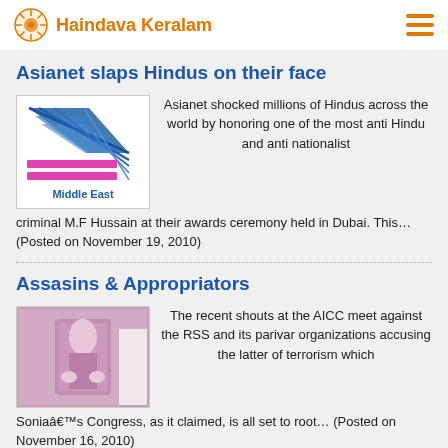Haindava Keralam
Asianet slaps Hindus on their face
[Figure (logo): Asianet Middle East logo — blue diagonal stripes forming a triangle shape with pink horizontal bars, text 'Middle East']
Asianet shocked millions of Hindus across the world by honoring one of the most anti Hindu and anti nationalist criminal M.F Hussain at their awards ceremony held in Dubai. This... (Posted on November 19, 2010)
Assasins & Appropriators
[Figure (photo): Photo of a person in a pink/purple sari]
The recent shouts at the AICC meet against the RSS and its parivar organizations accusing the latter of terrorism which Soniaâ€™s Congress, as it claimed, is all set to root... (Posted on November 16, 2010)